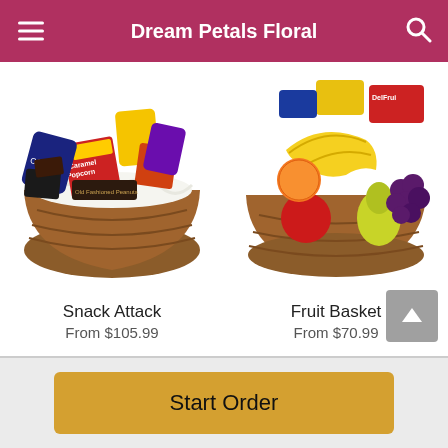Dream Petals Floral
[Figure (photo): Snack Attack gift basket filled with caramel popcorn, candies, and snacks in a wicker basket]
[Figure (photo): Fruit Basket with bananas, apples, pears, grapes, and orange in a wicker basket]
Snack Attack
From $105.99
Fruit Basket
From $70.99
Start Order